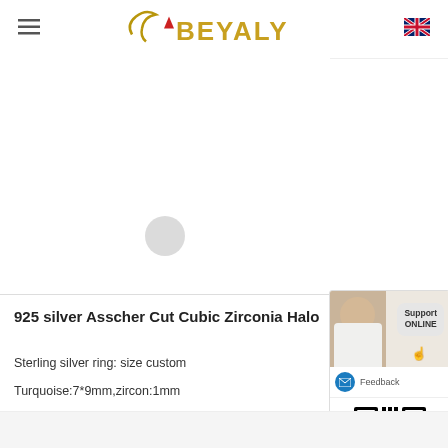[Figure (logo): Beyaly logo with golden text and stylized arrow/bird mark]
[Figure (screenshot): Product image area for 925 silver Asscher Cut Cubic Zirconia Halo ring - mostly white/blank with gray circle button]
[Figure (screenshot): Support ONLINE widget showing a customer service representative, Feedback button with email icon, QR code, close X button, and Chat Online button]
925 silver Asscher Cut Cubic Zirconia Halo
Sterling silver ring: size custom
Turquoise:7*9mm,zircon:1mm